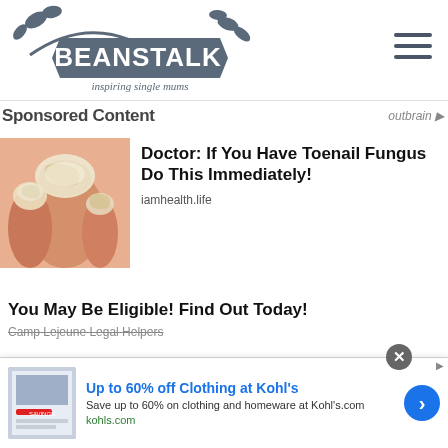[Figure (logo): Beanstalk logo - inspiring single mums, grey leaf/banner design]
[Figure (other): Hamburger menu icon (three horizontal lines)]
Sponsored Content
[Figure (photo): Close-up photo of toes with toenail fungus infection, whitish/crusty texture]
Doctor: If You Have Toenail Fungus Do This Immediately!
iamhealth.life
You May Be Eligible! Find Out Today!
Camp Lejeune Legal Helpers
[Figure (screenshot): Kohl's advertisement banner with product image showing savings]
Up to 60% off Clothing at Kohl's
Save up to 60% on clothing and homeware at Kohl's.com
kohls.com